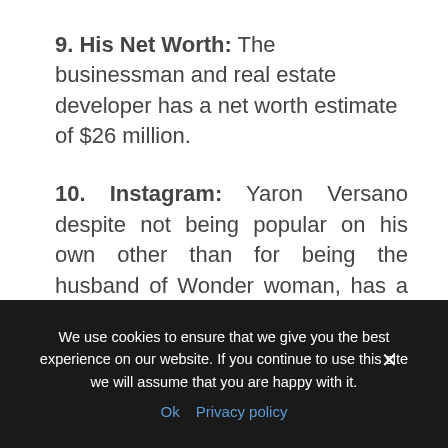9. His Net Worth: The businessman and real estate developer has a net worth estimate of $26 million.
10. Instagram: Yaron Versano despite not being popular on his own other than for being the husband of Wonder woman, has a huge following on social media. He has a huge
We use cookies to ensure that we give you the best experience on our website. If you continue to use this site we will assume that you are happy with it. Ok Privacy policy